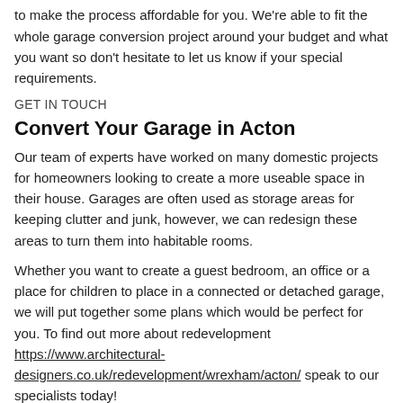also take a look at this and decide on the best course of action to make the process affordable for you. We're able to fit the whole garage conversion project around your budget and what you want so don't hesitate to let us know if your special requirements.
GET IN TOUCH
Convert Your Garage in Acton
Our team of experts have worked on many domestic projects for homeowners looking to create a more useable space in their house. Garages are often used as storage areas for keeping clutter and junk, however, we can redesign these areas to turn them into habitable rooms.
Whether you want to create a guest bedroom, an office or a place for children to place in a connected or detached garage, we will put together some plans which would be perfect for you. To find out more about redevelopment https://www.architectural-designers.co.uk/redevelopment/wrexham/acton/ speak to our specialists today!
Garage Conversion Cost